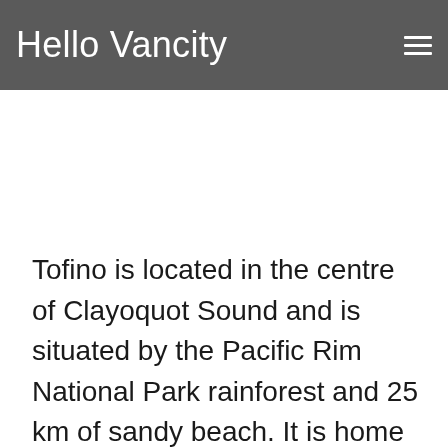Hello Vancity
Tofino is located in the centre of Clayoquot Sound and is situated by the Pacific Rim National Park rainforest and 25 km of sandy beach. It is home to the best surfing in Canada.